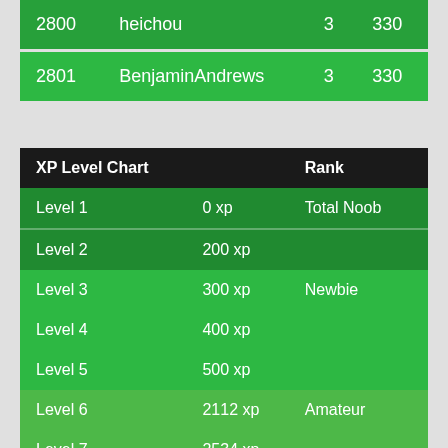| 2800 | heichou | 3 | 330 |
| 2801 | BenjaminAndrews | 3 | 330 |
| XP Level Chart |  | Rank |
| --- | --- | --- |
| Level 1 | 0 xp | Total Noob |
| Level 2 | 200 xp |  |
| Level 3 | 300 xp | Newbie |
| Level 4 | 400 xp |  |
| Level 5 | 500 xp |  |
| Level 6 | 2112 xp | Amateur |
| Level 7 | 2534 xp |  |
| Level 8 | 3041 xp |  |
| Level 9 | 3650 xp | Experienced |
| Level 10 | 4379 xp |  |
| Level 11 | 5255 xp |  |
| Level 12 | 6306 xp |  |